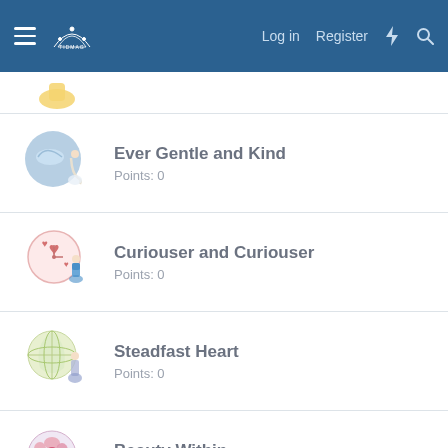Log in  Register
Ever Gentle and Kind
Points: 0
Curiouser and Curiouser
Points: 0
Steadfast Heart
Points: 0
Beauty Within
Points: 0
Come So Far